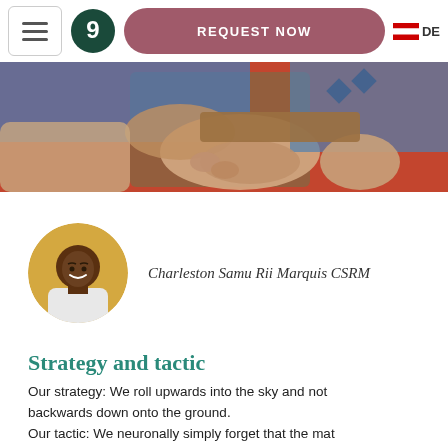REQUEST NOW | DE
[Figure (photo): Close-up photo of hands and a foot/leg on a red surface, person wearing blue clothing — appears to be a massage or therapy session]
Charleston Samu Rii Marquis CSRM
Strategy and tactic
Our strategy: We roll upwards into the sky and not backwards down onto the ground.
Our tactic: We neuronally simply forget that the mat